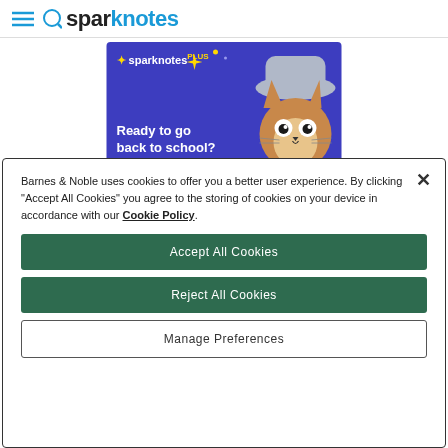SparkNotes logo header
[Figure (illustration): SparkNotes PLUS advertisement banner with purple background, cartoon cat character, text 'Ready to go back to school? With SparkNotes PLUS.']
Barnes & Noble uses cookies to offer you a better user experience. By clicking "Accept All Cookies" you agree to the storing of cookies on your device in accordance with our Cookie Policy.
Accept All Cookies
Reject All Cookies
Manage Preferences